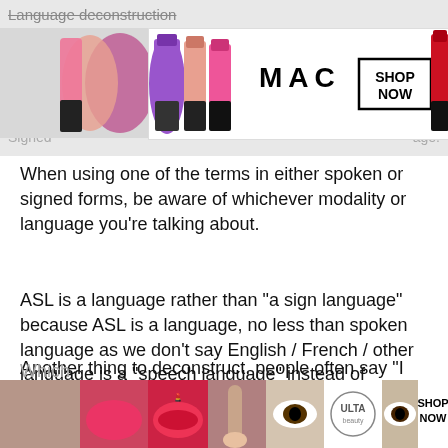Language deconstruction
[Figure (photo): MAC cosmetics advertisement banner showing lipsticks in purple, pink, and red colors with MAC logo and SHOP NOW button]
Signed                                                                                          age.
When using one of the terms in either spoken or signed forms, be aware of whichever modality or language you’re talking about.
ASL is a language rather than “a sign language” because ASL is a language, no less than spoken language as we don’t say English / French / other language is a “speech language” instead of “language”.
Another thing to deconstruct, people often say “I learned sign language”, “I know sign language a little”. Which language? Sign language. Which sign language? ASL. Okay. We don’t say “I’m learning a new speech langua[CLOSE]ght?
Which
[Figure (photo): ULTA beauty advertisement banner showing makeup application images, ULTA logo, and SHOP NOW button]